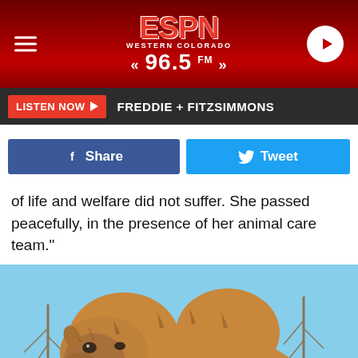[Figure (logo): ESPN Western Colorado 96.5 FM radio station header with red gradient background, hamburger menu icon on left, ESPN logo in center, play button on right]
LISTEN NOW ▶  FREDDIE + FITZSIMMONS
[Figure (infographic): Facebook Share button (blue) and Twitter Tweet button (light blue) side by side]
of life and welfare did not suffer. She passed peacefully, in the presence of her animal care team."
[Figure (photo): Close-up photo of a Bactrian (two-humped) camel facing the camera, with shaggy brown fur, looking slightly to the left. Trees and blue sky visible in background.]